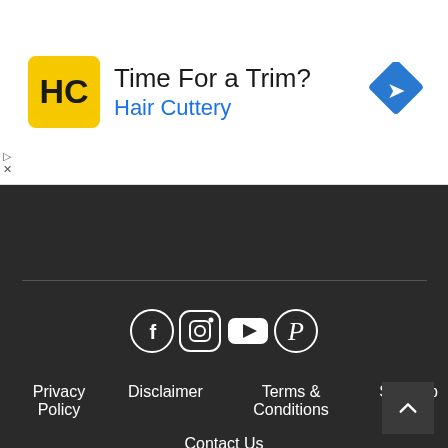[Figure (screenshot): Advertisement banner for Hair Cuttery with logo, text 'Time For a Trim?' and 'Hair Cuttery' in blue, and a blue diamond navigation icon on the right]
[Figure (infographic): Social media icons: Facebook, Instagram, YouTube, Pinterest in white on dark background]
Privacy Policy   Disclaimer   Terms & Conditions   Sitemap   Contact Us
Copyright © 2021 Electro Gadget